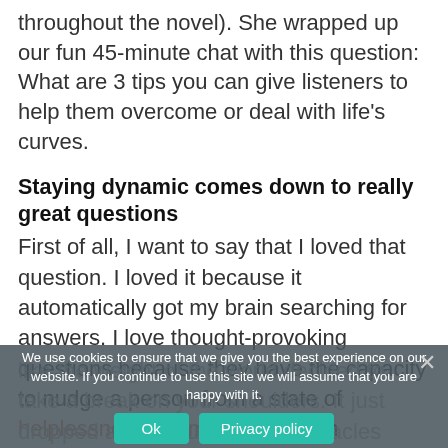throughout the novel). She wrapped up our fun 45-minute chat with this question: What are 3 tips you can give listeners to help them overcome or deal with life's curves.
Staying dynamic comes down to really great questions
First of all, I want to say that I loved that question. I loved it because it automatically got my brain searching for answers. I love thought-provoking questions because they have the capacity to nudge a person from a state of helplessness to empowerment in seconds.
We use cookies to ensure that we give you the best experience on our website. If you continue to use this site we will assume that you are happy with it.
like the weight of the world decided to take a break on your shoulders. It just dropped all its troubles and obstacles onto you and as a